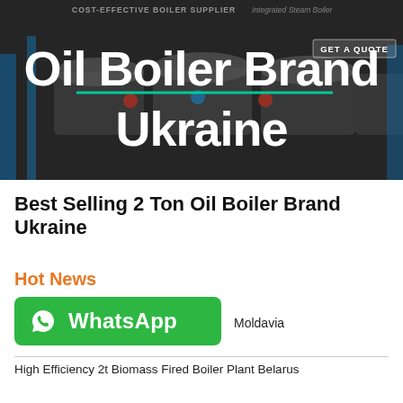[Figure (photo): Hero image showing industrial oil boilers in a dark facility with blue structural elements. Large white bold text overlaid reads 'Oil Boiler Brand Ukraine'. Background shows industrial boiler equipment. Top bar shows 'COST-EFFECTIVE BOILER SUPPLIER' and 'Integrated Steam Boiler' text. A 'GET A QUOTE' button appears on the right side.]
Best Selling 2 Ton Oil Boiler Brand Ukraine
Hot News
[Figure (logo): WhatsApp green button with phone icon and 'WhatsApp' text in white]
Moldavia
High Efficiency 2t Biomass Fired Boiler Plant Belarus